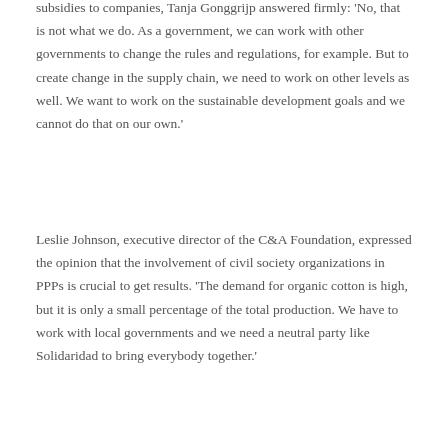subsidies to companies, Tanja Gonggrijp answered firmly: 'No, that is not what we do. As a government, we can work with other governments to change the rules and regulations, for example. But to create change in the supply chain, we need to work on other levels as well. We want to work on the sustainable development goals and we cannot do that on our own.'
Leslie Johnson, executive director of the C&A Foundation, expressed the opinion that the involvement of civil society organizations in PPPs is crucial to get results. 'The demand for organic cotton is high, but it is only a small percentage of the total production. We have to work with local governments and we need a neutral party like Solidaridad to bring everybody together.'